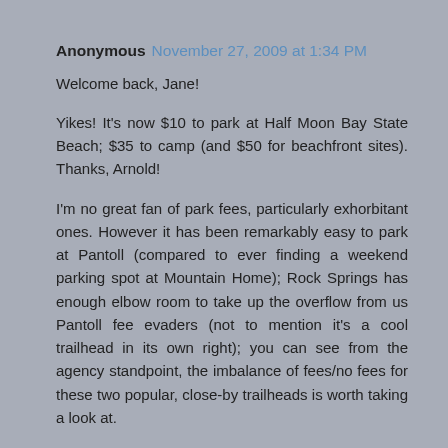Anonymous November 27, 2009 at 1:34 PM
Welcome back, Jane!

Yikes! It's now $10 to park at Half Moon Bay State Beach; $35 to camp (and $50 for beachfront sites). Thanks, Arnold!

I'm no great fan of park fees, particularly exhorbitant ones. However it has been remarkably easy to park at Pantoll (compared to ever finding a weekend parking spot at Mountain Home); Rock Springs has enough elbow room to take up the overflow from us Pantoll fee evaders (not to mention it's a cool trailhead in its own right); you can see from the agency standpoint, the imbalance of fees/no fees for these two popular, close-by trailheads is worth taking a look at.

I'm also one of the old-fashioned people who pays the parking fee at China Camp.

As often as I go hiking, fees add up. I'll also be hiking a little